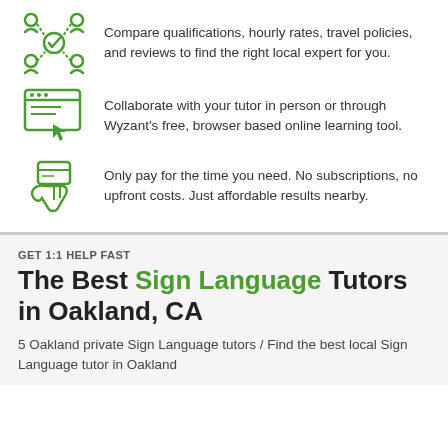Compare qualifications, hourly rates, travel policies, and reviews to find the right local expert for you.
Collaborate with your tutor in person or through Wyzant's free, browser based online learning tool.
Only pay for the time you need. No subscriptions, no upfront costs. Just affordable results nearby.
GET 1:1 HELP FAST
The Best Sign Language Tutors in Oakland, CA
5 Oakland private Sign Language tutors / Find the best local Sign Language tutor in Oakland